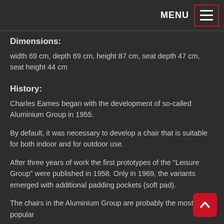MENU
Dimensions:
width 69 cm, depth 69 cm, height 87 cm, seat depth 47 cm, seat height 44 cm
History:
Charles Eames began with the development of so-called Aluminium Group in 1955.
By default, it was necessary to develop a chair that is suitable for both indoor and for outdoor use.
After three years of work the first prototypes of the "Leisure Group" were published in 1958. Only in 1969, the variants emerged with additional padding pockets (soft pad).
The chairs in the Aluminium Group are probably the most popular